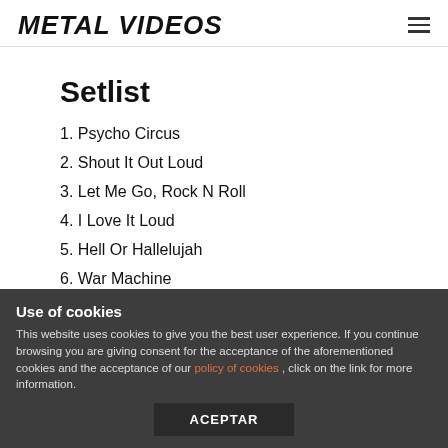METAL VIDEOS
Setlist
1. Psycho Circus
2. Shout It Out Loud
3. Let Me Go, Rock N Roll
4. I Love It Loud
5. Hell Or Hallelujah
6. War Machine
7. Heaven's On Fire
Use of cookies
This website uses cookies to give you the best user experience. If you continue browsing you are giving consent for the acceptance of the aforementioned cookies and the acceptance of our policy of cookies , click on the link for more information.
ACEPTAR